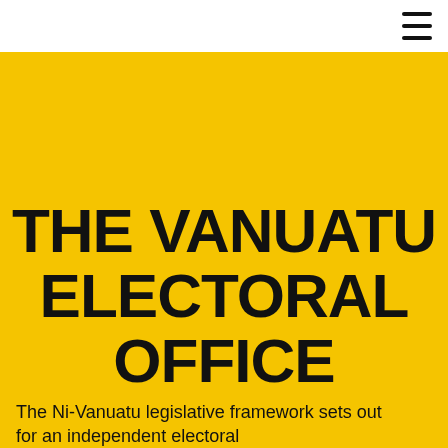THE VANUATU ELECTORAL OFFICE
The Ni-Vanuatu legislative framework sets out for an independent electoral